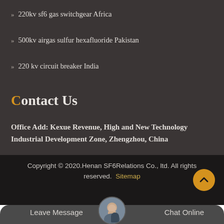220kv sf6 gas switchgear Africa
500kv airgas sulfur hexafluoride Pakistan
220 kv circuit breaker India
Contact Us
Office Add: Kexue Revenue, High and New Technology Industrial Development Zone, Zhengzhou, China
Copyright © 2020.Henan SF6Relations Co., ltd. All rights reserved. Sitemap
Leave Message
Chat Online